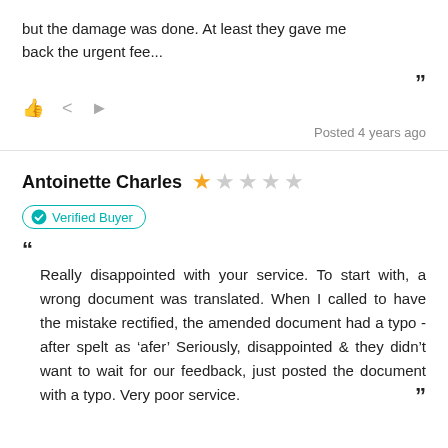but the damage was done. At least they gave me back the urgent fee...
Posted 4 years ago
Antoinette Charles — 1 star out of 5
Verified Buyer
Really disappointed with your service. To start with, a wrong document was translated. When I called to have the mistake rectified, the amended document had a typo - after spelt as 'afer' Seriously, disappointed & they didn't want to wait for our feedback, just posted the document with a typo. Very poor service.